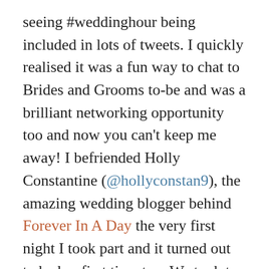seeing #weddinghour being included in lots of tweets. I quickly realised it was a fun way to chat to Brides and Grooms to-be and was a brilliant networking opportunity too and now you can't keep me away! I befriended Holly Constantine (@hollyconstan9), the amazing wedding blogger behind Forever In A Day the very first night I took part and it turned out to be her first time too. We took to it like ducks to water and love to get together on Twitter every Wednesday night to chat all things weddings. Holly's blog documents her journey to becoming an independent wedding planner and also features lots of amazing